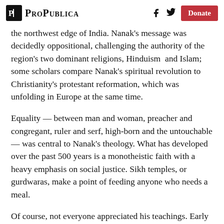ProPublica — Donate
the northwest edge of India. Nanak's message was decidedly oppositional, challenging the authority of the region's two dominant religions, Hinduism  and Islam; some scholars compare Nanak's spiritual revolution to Christianity's protestant reformation, which was unfolding in Europe at the same time.
Equality — between man and woman, preacher and congregant, ruler and serf, high-born and the untouchable — was central to Nanak's theology. What has developed over the past 500 years is a monotheistic faith with a heavy emphasis on social justice. Sikh temples, or gurdwaras, make a point of feeding anyone who needs a meal.
Of course, not everyone appreciated his teachings. Early Sikh gurus, or prophets, were tortured to death by the region's rulers.